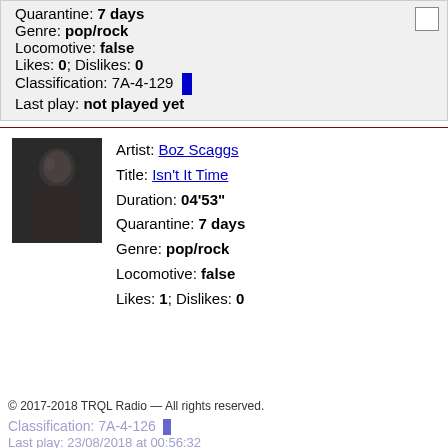Quarantine: 7 days
Genre: pop/rock
Locomotive: false
Likes: 0; Dislikes: 0
Classification: 7A-4-129 [blue bar]
Last play: not played yet
[Figure (photo): Portrait photo of Boz Scaggs, a man in a dark shirt against a dark background]
Artist: Boz Scaggs
Title: Isn't It Time
Duration: 04'53"
Quarantine: 7 days
Genre: pop/rock
Locomotive: false
Likes: 1; Dislikes: 0
© 2017-2018 TRQL Radio — All rights reserved.
Classification: 7A-4-126 [blue bar]
Last play: 23/08/2018 at 00:56:32